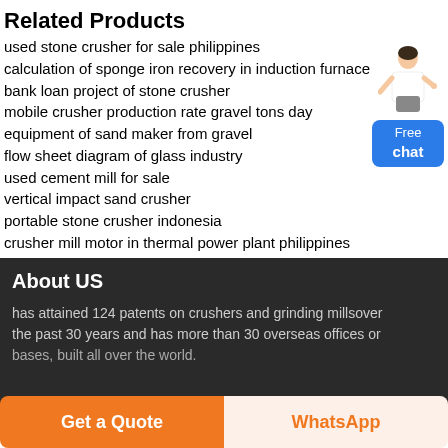Related Products
used stone crusher for sale philippines
calculation of sponge iron recovery in induction furnace
bank loan project of stone crusher
mobile crusher production rate gravel tons day
equipment of sand maker from gravel
flow sheet diagram of glass industry
used cement mill for sale
vertical impact sand crusher
portable stone crusher indonesia
crusher mill motor in thermal power plant philippines
[Figure (illustration): Customer service representative figure with Free chat button]
About US
has attained 124 patents on crushers and grinding millsover the past 30 years and has more than 30 overseas offices or
Get a Quote
WhatsApp